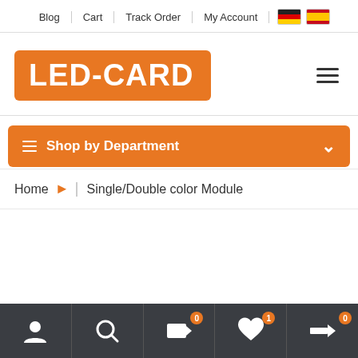Blog | Cart | Track Order | My Account
[Figure (logo): LED-CARD logo in white text on orange rounded rectangle background]
Shop by Department
Home > Single/Double color Module